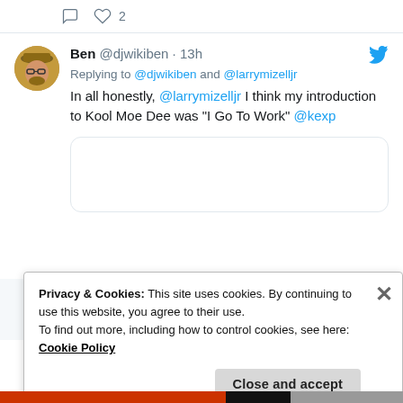[Figure (screenshot): Tweet from Ben @djwikiben replying to @djwikiben and @larrymizelljr: 'In all honestly, @larrymizelljr I think my introduction to Kool Moe Dee was "I Go To Work" @kexp']
Privacy & Cookies: This site uses cookies. By continuing to use this website, you agree to their use.
To find out more, including how to control cookies, see here: Cookie Policy
Close and accept